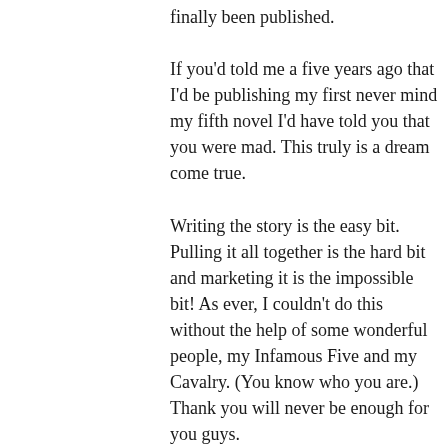finally been published.
If you'd told me a five years ago that I'd be publishing my first never mind my fifth novel I'd have told you that you were mad. This truly is a dream come true.
Writing the story is the easy bit. Pulling it all together is the hard bit and marketing it is the impossible bit! As ever, I couldn't do this without the help of some wonderful people, my Infamous Five and my Cavalry. (You know who you are.) Thank you will never be enough for you guys.
Right, without further ado and before I get over emotional, allow me to introduce you to my fifth Book Baby,